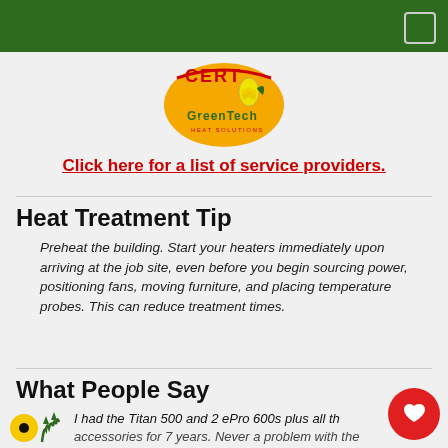[Figure (logo): Cert GreenTech Heat Solutions logo - circular orange/yellow badge with corn and leaf graphics]
Click here for a list of service providers.
Heat Treatment Tip
Preheat the building. Start your heaters immediately upon arriving at the job site, even before you begin sourcing power, positioning fans, moving furniture, and placing temperature probes. This can reduce treatment times.
What People Say
I had the Titan 500 and 2 ePro 600s plus all the accessories for 7 years. Never a problem with the